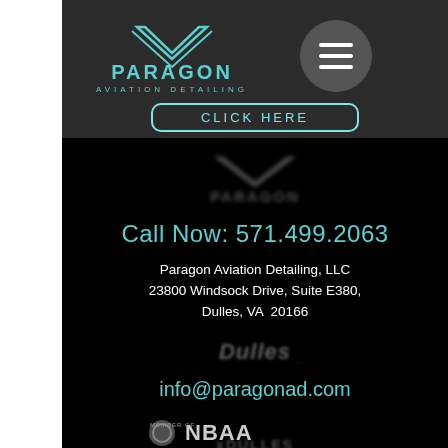[Figure (logo): Paragon Aviation Detailing logo in teal/cyan color on dark background]
[Figure (other): Hamburger menu button (gray circle with three white lines)]
CLICK HERE
[Figure (logo): Paragon Aviation Detailing logo blurred/faded on black background]
Call Now: 571.499.2063
Paragon Aviation Detailing, LLC
23800 Windsock Drive, Suite E380,
Dulles, VA  20166
[Figure (logo): Dulles airport logo blurred on black background]
info@paragonad.com
[Figure (logo): NBAA member logo on black background]
[Figure (logo): xDULLES logo blurred at bottom]